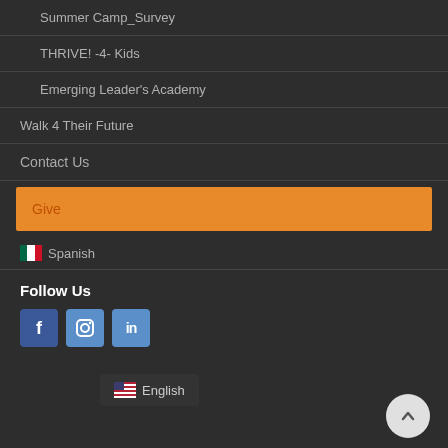Summer Camp_Survey
THRIVE! -4- Kids
Emerging Leader's Academy
Walk 4 Their Future
Contact Us
Give
🇲🇽 Spanish
Follow Us
[Figure (logo): Facebook, Instagram, LinkedIn social media icons]
🇺🇸 English